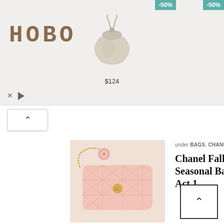[Figure (screenshot): HOBO brand advertisement banner with -50% discount badge, beige drawstring bag image priced at $124, and playback controls]
[Figure (photo): Pink quilted Chanel flap bag with gold chain]
under BAGS, CHANEL, Season Bag Prices
Chanel Fall Winter 2022 Seasonal Bag Collection Act 1
under CHANEL, SHOES
Chanel Fall Winter 2022 Shoe Collection Act 1